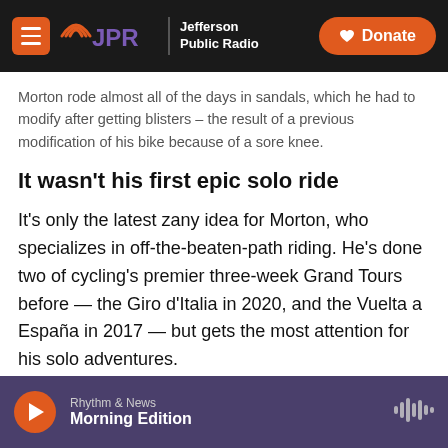JPR Jefferson Public Radio | Donate
Morton rode almost all of the days in sandals, which he had to modify after getting blisters – the result of a previous modification of his bike because of a sore knee.
It wasn't his first epic solo ride
It's only the latest zany idea for Morton, who specializes in off-the-beaten-path riding. He's done two of cycling's premier three-week Grand Tours before — the Giro d'Italia in 2020, and the Vuelta a España in 2017 — but gets the most attention for his solo adventures.
In 2019, he went from the bottom to the top of
Rhythm & News | Morning Edition